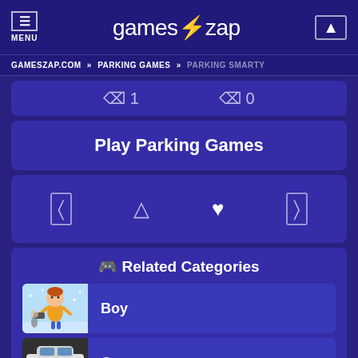MENU | gameszap | [search]
GAMESZAP.COM » PARKING GAMES » PARKING SMARTY
[partial icons: 1 T ... 0]
Play Parking Games
[icon row: box, triangle, heart, box]
🎮 Related Categories
Boy
Car